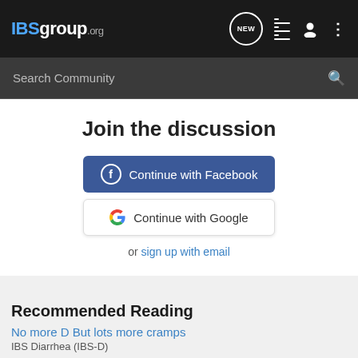IBSgroup.org
Search Community
Join the discussion
Continue with Facebook
Continue with Google
or sign up with email
Recommended Reading
No more D But lots more cramps
IBS Diarrhea (IBS-D)